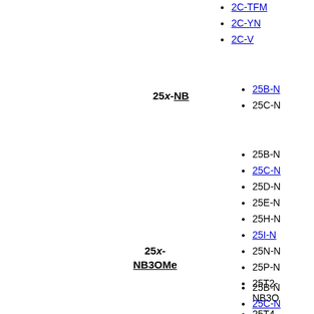2C-TFM
2C-YN
2C-V
25x-NB
25B-N
25C-N
25B-N
25C-N
25D-N
25E-N
25H-N
25I-N
25N-N
25P-N
25T2-NB3OMe
25T4-NB3OMe
25T7-NB3OMe
25TF-NB3OMe
25x-NB3OMe
25B-N
25C-N